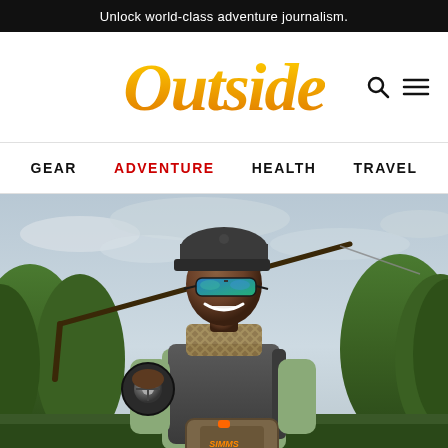Unlock world-class adventure journalism.
Outside
Navigation icons: search, menu
GEAR  ADVENTURE  HEALTH  TRAVEL
[Figure (photo): A smiling Black man wearing a dark cap, colorful sunglasses, a patterned scarf, dark vest, and a Simms waist pack, holding a fly fishing rod over his shoulder against a forested/sky background.]